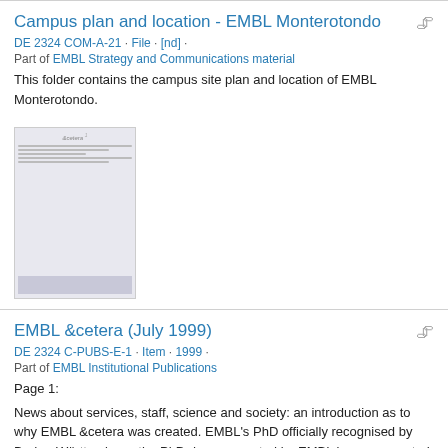Campus plan and location - EMBL Monterotondo
DE 2324 COM-A-21 · File · [nd] ·
Part of EMBL Strategy and Communications material
This folder contains the campus site plan and location of EMBL Monterotondo.
[Figure (photo): Thumbnail preview of the EMBL &cetera (July 1999) document, showing a newsletter-style page with columns of text and the title '&cetera'.]
EMBL &cetera (July 1999)
DE 2324 C-PUBS-E-1 · Item · 1999 ·
Part of EMBL Institutional Publications
Page 1:
News about services, staff, science and society: an introduction as to why EMBL &cetera was created. EMBL's PhD officially recognised by Baden-Württemburg: the PhD degree granted by EMBL is now accepted like other international PhDs.